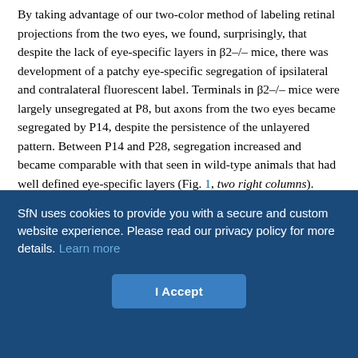By taking advantage of our two-color method of labeling retinal projections from the two eyes, we found, surprisingly, that despite the lack of eye-specific layers in β2–/– mice, there was development of a patchy eye-specific segregation of ipsilateral and contralateral fluorescent label. Terminals in β2–/– mice were largely unsegregated at P8, but axons from the two eyes became segregated by P14, despite the persistence of the unlayered pattern. Between P14 and P28, segregation increased and became comparable with that seen in wild-type animals that had well defined eye-specific layers (Fig. 1, two right columns). Based on these findings, we hypothesize that spontaneous activity during the second postnatal week and sensory activity in the third and fourth postnatal weeks may drive the segregation of right and left eye axons but is not sufficient to induce the formation of eye-specific layers.
SfN uses cookies to provide you with a secure and custom website experience. Please read our privacy policy for more details. Learn more
I Accept